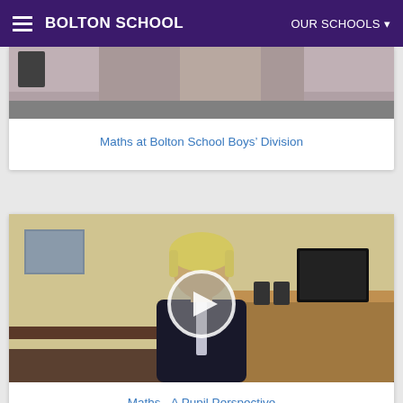BOLTON SCHOOL | OUR SCHOOLS
[Figure (photo): Partial photo of a woman sitting, visible from mid-torso up, wearing a patterned jacket, in a school office setting]
Maths at Bolton School Boys' Division
[Figure (photo): A pupil in school uniform (dark blazer) sitting in a classroom/office room with a computer monitor on a desk. A play button overlay is shown, indicating this is a video thumbnail.]
Maths - A Pupil Perspective